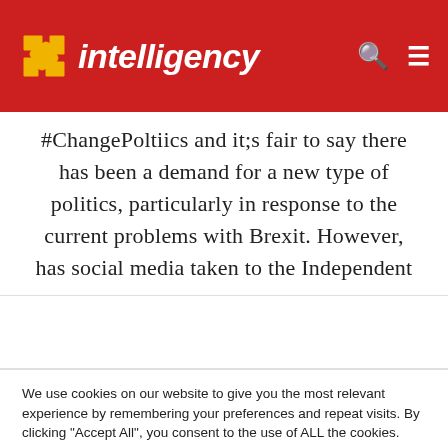intelligency
#ChangePoltiics and it;s fair to say there has been a demand for a new type of politics, particularly in response to the current problems with Brexit. However, has social media taken to the Independent
We use cookies on our website to give you the most relevant experience by remembering your preferences and repeat visits. By clicking "Accept All", you consent to the use of ALL the cookies. However, you may visit "Cookie Settings" to provide a controlled consent.